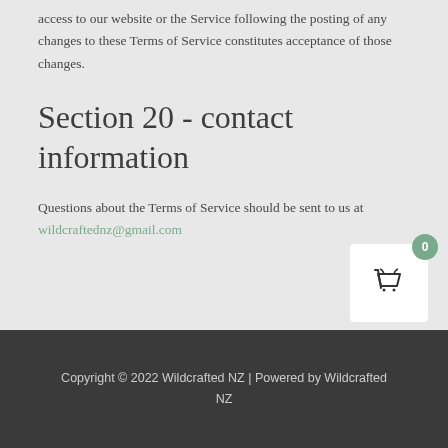access to our website or the Service following the posting of any changes to these Terms of Service constitutes acceptance of those changes.
Section 20 - contact information
Questions about the Terms of Service should be sent to us at wildcraftednz@gmail.com
Copyright © 2022 Wildcrafted NZ | Powered by Wildcrafted NZ